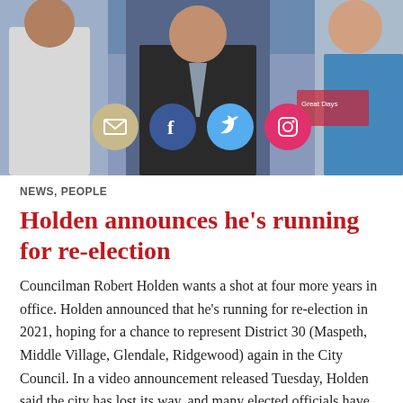[Figure (photo): Photo of Councilman Robert Holden and others, with social media share icons (email, Facebook, Twitter, Instagram) overlaid on the bottom portion of the image.]
NEWS, PEOPLE
Holden announces he’s running for re-election
Councilman Robert Holden wants a shot at four more years in office. Holden announced that he’s running for re-election in 2021, hoping for a chance to represent District 30 (Maspeth, Middle Village, Glendale, Ridgewood) again in the City Council. In a video announcement released Tuesday, Holden said the city has lost its way, and many elected officials have abandoned the policies that kept the streets …
Continue reading